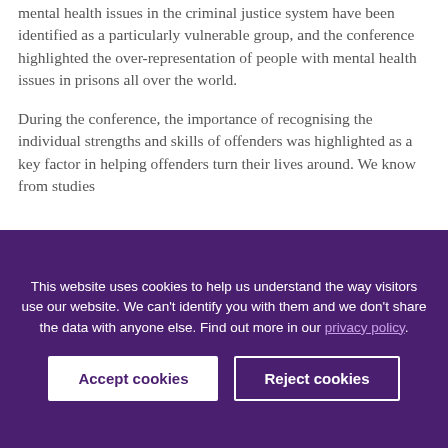mental health issues in the criminal justice system have been identified as a particularly vulnerable group, and the conference highlighted the over-representation of people with mental health issues in prisons all over the world.
During the conference, the importance of recognising the individual strengths and skills of offenders was highlighted as a key factor in helping offenders turn their lives around. We know from studies
This website uses cookies to help us understand the way visitors use our website. We can't identify you with them and we don't share the data with anyone else. Find out more in our privacy policy.